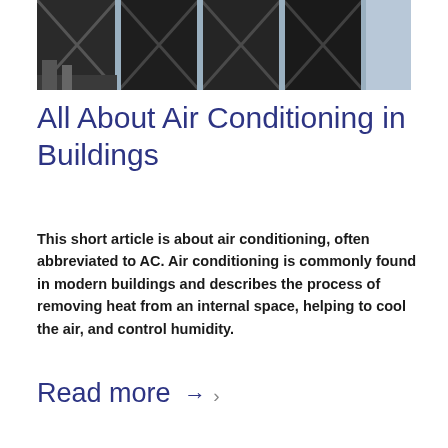[Figure (photo): Photograph of large industrial cooling tower units on top of or beside a building, showing dark mesh panels with cross-bracing supports against a light sky background.]
All About Air Conditioning in Buildings
This short article is about air conditioning, often abbreviated to AC. Air conditioning is commonly found in modern buildings and describes the process of removing heat from an internal space, helping to cool the air, and control humidity.
Read more → ›